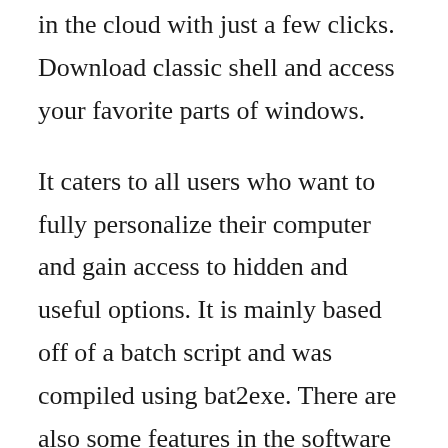in the cloud with just a few clicks. Download classic shell and access your favorite parts of windows.
It caters to all users who want to fully personalize their computer and gain access to hidden and useful options. It is mainly based off of a batch script and was compiled using bat2exe. There are also some features in the software that may enable you and. You can easily customize the start menu, there are a few main options that give a range of styles. Download classic shell skin to get windows 7 look like. Usually and features disappear directly